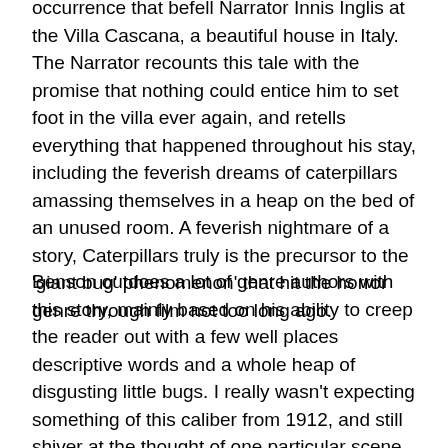occurrence that befell Narrator Innis Inglis at the Villa Cascana, a beautiful house in Italy. The Narrator recounts this tale with the promise that nothing could entice him to set foot in the villa ever again, and retells everything that happened throughout his stay, including the feverish dreams of caterpillars amassing themselves in a heap on the bed of an unused room. A feverish nightmare of a story, Caterpillars truly is the precursor to the 'giant bug' phenomenon' that hit the horror genre through film not too long ago.
Benson outdoes a lot of genre authors with this story, mainly based on his ability to creep the reader out with a few well places descriptive words and a whole heap of disgusting little bugs. I really wasn't expecting something of this caliber from 1912, and still shiver at the thought of one particular scene. While the language used throughout